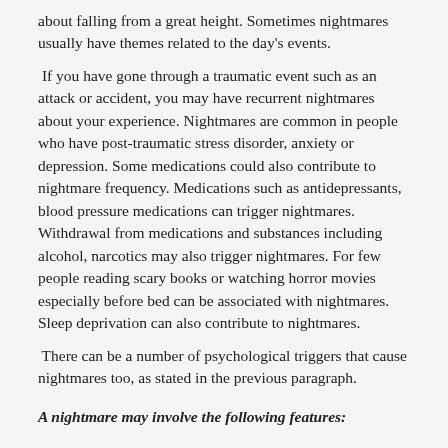about falling from a great height. Sometimes nightmares usually have themes related to the day's events.
If you have gone through a traumatic event such as an attack or accident, you may have recurrent nightmares about your experience. Nightmares are common in people who have post-traumatic stress disorder, anxiety or depression. Some medications could also contribute to nightmare frequency. Medications such as antidepressants, blood pressure medications can trigger nightmares. Withdrawal from medications and substances including alcohol, narcotics may also trigger nightmares. For few people reading scary books or watching horror movies especially before bed can be associated with nightmares. Sleep deprivation can also contribute to nightmares.
There can be a number of psychological triggers that cause nightmares too, as stated in the previous paragraph.
A nightmare may involve the following features: